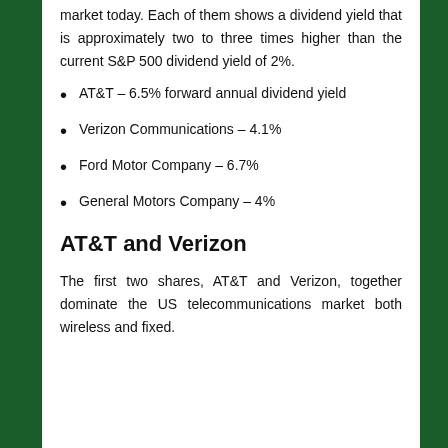market today. Each of them shows a dividend yield that is approximately two to three times higher than the current S&P 500 dividend yield of 2%.
AT&T – 6.5% forward annual dividend yield
Verizon Communications – 4.1%
Ford Motor Company – 6.7%
General Motors Company – 4%
AT&T and Verizon
The first two shares, AT&T and Verizon, together dominate the US telecommunications market both wireless and fixed.